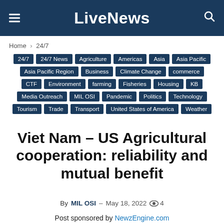LiveNews
Home › 24/7
24/7 | 24/7 News | Agriculture | Americas | Asia | Asia Pacific | Asia Pacific Region | Business | Climate Change | commerce | CTF | Environment | farming | Fisheries | Housing | KB | Media Outreach | MIL OSI | Pandemic | Politics | Technology | Tourism | Trade | Transport | United States of America | Weather
Viet Nam – US Agricultural cooperation: reliability and mutual benefit
By MIL OSI - May 18, 2022  👁 4
Post sponsored by NewzEngine.com